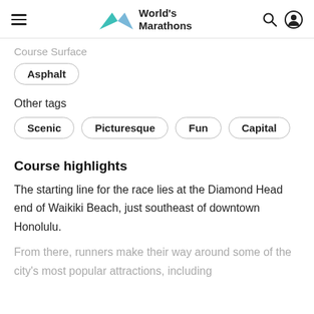World's Marathons
Course Surface
Asphalt
Other tags
Scenic
Picturesque
Fun
Capital
Course highlights
The starting line for the race lies at the Diamond Head end of Waikiki Beach, just southeast of downtown Honolulu.
From there, runners make their way around some of the city's most popular attractions, including